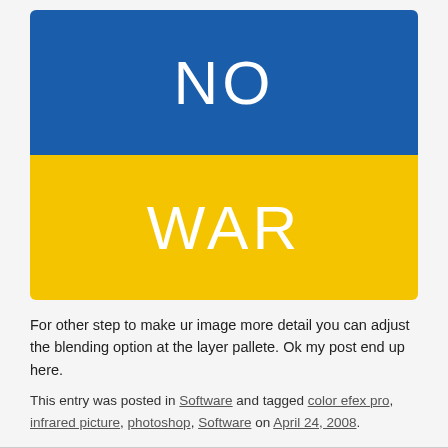[Figure (illustration): Ukrainian flag colors: blue top half with white text 'NO', yellow bottom half with white text 'WAR']
For other step to make ur image more detail you can adjust the blending option at the layer pallete. Ok my post end up here.
This entry was posted in Software and tagged color efex pro, infrared picture, photoshop, Software on April 24, 2008.